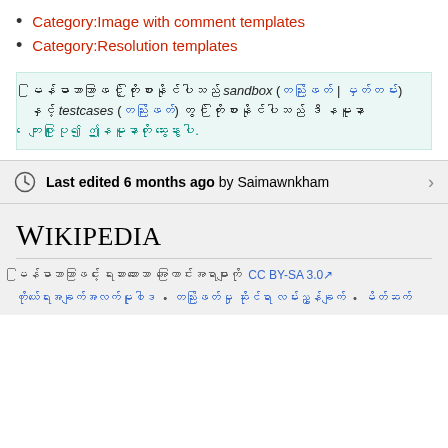Category:Image with comment templates
Category:Resolution templates
မြန်မာဘာသာဖြင့် ကြိုးစားနိုင်ပါသည် sandbox (တည်းဖြတ် | မှတ်တမ်း) နှင့် testcases (တည်းဖြတ်) တွင် ကြိုးစားနိုင်ပါသည် ဒီ နမူနာ
ကျေးဇူးပြု၍ ဤနမူနာကို ဆွေးနွေးပါ.
Last edited 6 months ago by Saimawnkham
[Figure (logo): Wikipedia logo text]
မြန်မာဘာသာဖြင့် ရေးသားထားသော အကြောင်းအရာများကို CC BY-SA 3.0 အောက်တွင် ထုတ်ဝေသည်
ကိုယ်ရေးအချက်အလက်မူဝါဒ • တည်းဖြတ်မှုဆိုင်ရာ လမ်းညွှန်ချက် • မိတ်ဆက်